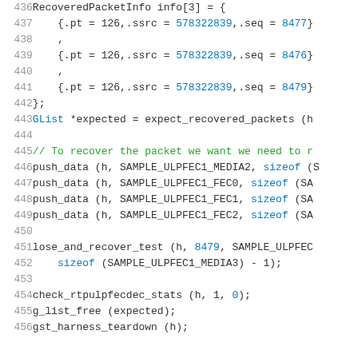[Figure (screenshot): Source code listing (C language) showing lines 436-456 of a test file. Line numbers in grey on the left, code syntax highlighted in black and blue/teal. Code includes RecoveredPacketInfo struct array initialization, GList, push_data calls, lose_and_recover_test, check_rtpulpfecdec_stats, g_list_free, and gst_harness_teardown.]